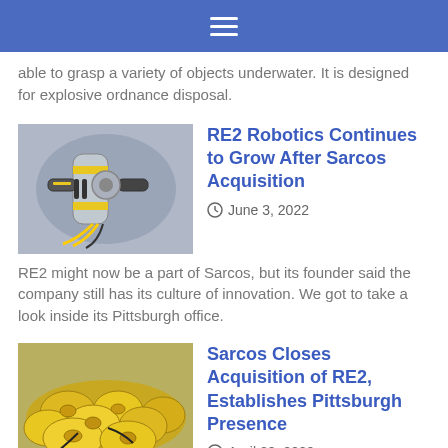≡
able to grasp a variety of objects underwater. It is designed for explosive ordnance disposal.
[Figure (photo): Robotic arm with yellow and black markings, close-up view of gripper mechanism]
RE2 Robotics Continues to Grow After Sarcos Acquisition
June 3, 2022
RE2 might now be a part of Sarcos, but its founder said the company still has its culture of innovation. We got to take a look inside its Pittsburgh office.
[Figure (photo): Collection of yellow robotic components/hands piled together]
Sarcos Closes Acquisition of RE2, Establishes Pittsburgh Presence
April 28, 2022